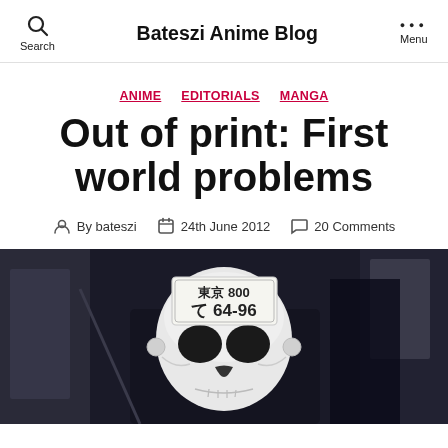Bateszi Anime Blog | Search | Menu
ANIME   EDITORIALS   MANGA
Out of print: First world problems
By bateszi   24th June 2012   20 Comments
[Figure (photo): A person wearing a white skull mask with a Japanese license plate reading 東京 800 て 64-96 attached to the forehead. The figure is dressed in dark clothing, photographed outdoors near a building.]